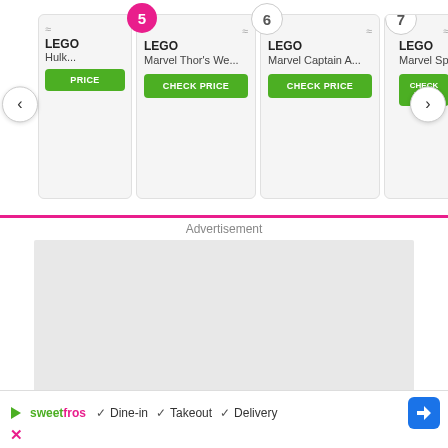[Figure (screenshot): Product carousel showing LEGO Marvel items numbered 5, 6, 7 with CHECK PRICE buttons on green background, navigation arrows, and a pink active indicator underline]
Advertisement
[Figure (screenshot): Advertisement placeholder area (gray box)]
[Figure (screenshot): Bottom ad bar with sweetFrog logo, check marks for Dine-in, Takeout, Delivery, a blue direction button, and a pink X close button]